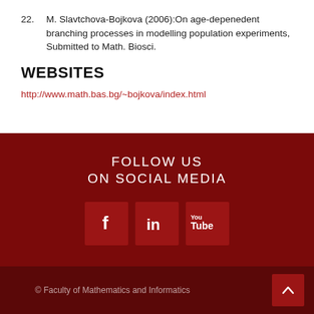22. M. Slavtchova-Bojkova (2006):On age-depenedent branching processes in modelling population experiments, Submitted to Math. Biosci.
WEBSITES
http://www.math.bas.bg/~bojkova/index.html
FOLLOW US ON SOCIAL MEDIA
[Figure (infographic): Social media icons for Facebook, LinkedIn, and YouTube on dark red background]
© Faculty of Mathematics and Informatics